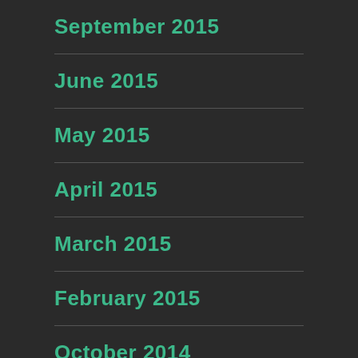September 2015
June 2015
May 2015
April 2015
March 2015
February 2015
October 2014
September 2014